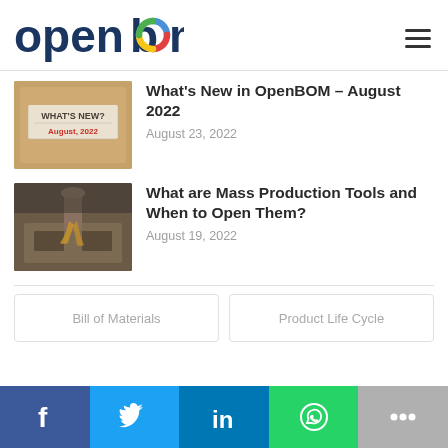openbom
What's New in OpenBOM – August 2022
August 23, 2022
[Figure (photo): Image showing a cardboard texture with 'WHAT'S NEW?' text and 'August, 2022' in red]
What are Mass Production Tools and When to Open Them?
August 19, 2022
[Figure (photo): Industrial manufacturing machine pouring molten metal into a mold]
Bill of Materials
Product Life Cycle
Facebook | Twitter | LinkedIn | WhatsApp | More